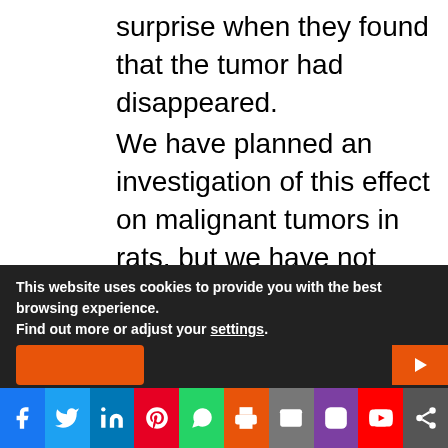surprise when they found that the tumor had disappeared. We have planned an investigation of this effect on malignant tumors in rats, but we have not been able to start it because for the moment the Health Ministry lacks funds. Ironic, isn't it? For the time being, I recognize that bees have the gift of knowing where they must sting. Mother Nature is wise, but notwithstanding that, we must
This website uses cookies to provide you with the best browsing experience. Find out more or adjust your settings.
[Figure (other): Social media sharing bar with icons for Facebook, Twitter, LinkedIn, Pinterest, WhatsApp, Print, Email, Instagram, YouTube, and Share]